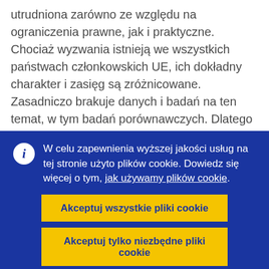utrudniona zarówno ze względu na ograniczenia prawne, jak i praktyczne. Chociaż wyzwania istnieją we wszystkich państwach członkowskich UE, ich dokładny charakter i zasięg są zróżnicowane. Zasadniczo brakuje danych i badań na ten temat, w tym badań porównawczych. Dlatego też sprawozdanie FRA analizuje różne rodzaje i wzorce wyzwań stojących przed organizacjami społeczeństwa obywatelskiego działającymi na rzecz praw człowieka w UE. Podkreśla ono także obiecujące praktyki, które...
W celu zapewnienia wyższej jakości usług na tej stronie użyto plików cookie. Dowiedz się więcej o tym, jak używamy plików cookie.
Akceptuj wszystkie pliki cookie
Akceptuj tylko niezbędne pliki cookie